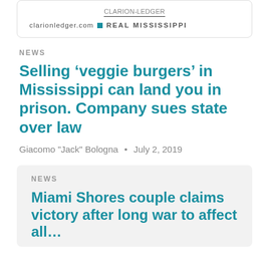clarionledger.com REAL MISSISSIPPI
NEWS
Selling ‘veggie burgers’ in Mississippi can land you in prison. Company sues state over law
Giacomo "Jack" Bologna • July 2, 2019
NEWS
Miami Shores couple claims victory after long war to affect all…